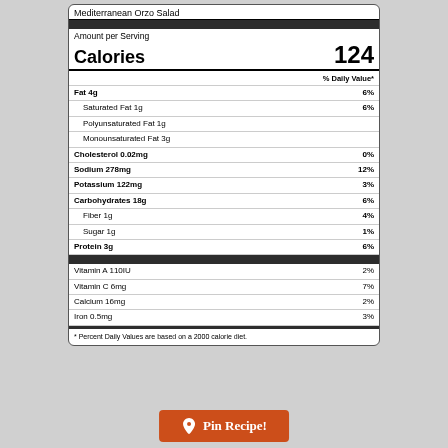Mediterranean Orzo Salad
| Nutrient | Amount | % Daily Value |
| --- | --- | --- |
| Amount per Serving |  |  |
| Calories |  | 124 |
| % Daily Value* |  |  |
| Fat 4g |  | 6% |
| Saturated Fat 1g |  | 6% |
| Polyunsaturated Fat 1g |  |  |
| Monounsaturated Fat 3g |  |  |
| Cholesterol 0.02mg |  | 0% |
| Sodium 278mg |  | 12% |
| Potassium 122mg |  | 3% |
| Carbohydrates 18g |  | 6% |
| Fiber 1g |  | 4% |
| Sugar 1g |  | 1% |
| Protein 3g |  | 6% |
| Vitamin A 110IU |  | 2% |
| Vitamin C 6mg |  | 7% |
| Calcium 16mg |  | 2% |
| Iron 0.5mg |  | 3% |
* Percent Daily Values are based on a 2000 calorie diet.
Pin Recipe!